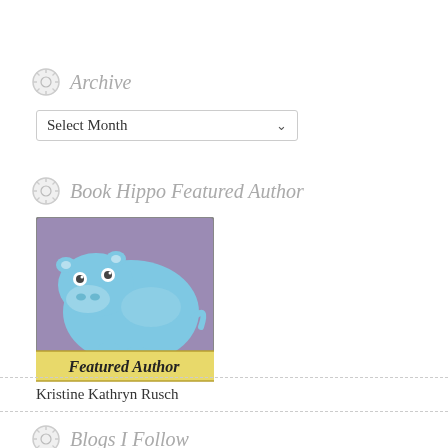Archive
Select Month
Book Hippo Featured Author
[Figure (illustration): Book Hippo Featured Author badge with a cartoon blue hippo on a purple background and a yellow 'Featured Author' banner]
Blogs I Follow
Kristine Kathryn Rusch